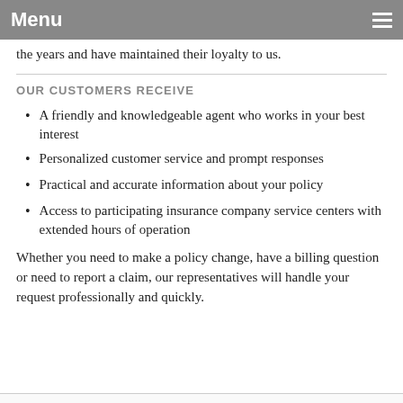Menu
the years and have maintained their loyalty to us.
OUR CUSTOMERS RECEIVE
A friendly and knowledgeable agent who works in your best interest
Personalized customer service and prompt responses
Practical and accurate information about your policy
Access to participating insurance company service centers with extended hours of operation
Whether you need to make a policy change, have a billing question or need to report a claim, our representatives will handle your request professionally and quickly.